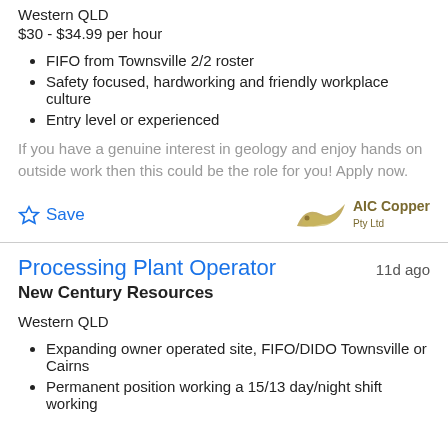Western QLD
$30 - $34.99 per hour
FIFO from Townsville 2/2 roster
Safety focused, hardworking and friendly workplace culture
Entry level or experienced
If you have a genuine interest in geology and enjoy hands on outside work then this could be the role for you! Apply now.
[Figure (logo): AIC Copper Pty Ltd logo with stylized mountain/bird shape in gold/brown]
Processing Plant Operator
New Century Resources
Western QLD
Expanding owner operated site, FIFO/DIDO Townsville or Cairns
Permanent position working a 15/13 day/night shift working